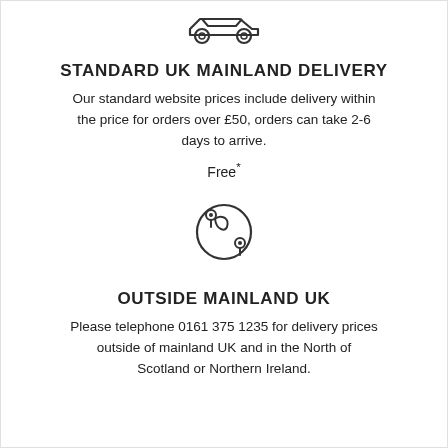[Figure (illustration): Car icon outline, small, centered at top]
STANDARD UK MAINLAND DELIVERY
Our standard website prices include delivery within the price for orders over £50, orders can take 2-6 days to arrive.
Free*
[Figure (illustration): Globe/map icon with location pins, centered]
OUTSIDE MAINLAND UK
Please telephone 0161 375 1235 for delivery prices outside of mainland UK and in the North of Scotland or Northern Ireland.